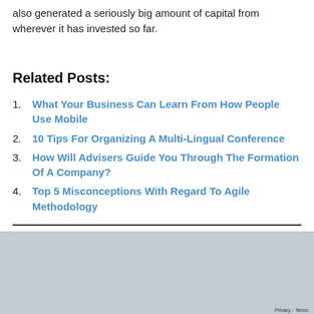also generated a seriously big amount of capital from wherever it has invested so far.
Related Posts:
What Your Business Can Learn From How People Use Mobile
10 Tips For Organizing A Multi-Lingual Conference
How Will Advisers Guide You Through The Formation Of A Company?
Top 5 Misconceptions With Regard To Agile Methodology
RELATED POST   MORE FROM AUTHOR
We use cookies to ensure that we give you the best experience on our website. If you continue to use this site we will assume that you are happy with it.
BUSINESS SERVICES   Ok   Privacy policy